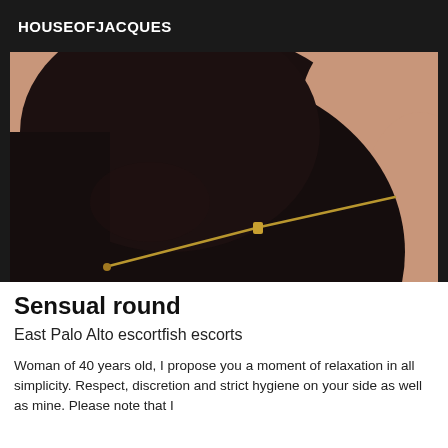HOUSEOFJACQUES
[Figure (photo): Close-up photo of a dark black rounded fabric item with a gold zipper, against a skin-toned background]
Sensual round
East Palo Alto escortfish escorts
Woman of 40 years old, I propose you a moment of relaxation in all simplicity. Respect, discretion and strict hygiene on your side as well as mine. Please note that I